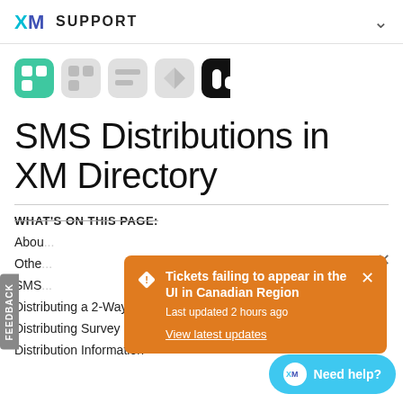XM SUPPORT
[Figure (logo): Qualtrics XM product logos row — colored and greyed icon set]
SMS Distributions in XM Directory
WHAT'S ON THIS PAGE:
Abou...
Othe...
SMS...
Distributing a 2-Way SMS Survey
Distributing Survey Invitations via SMS
Distribution Information
[Figure (screenshot): Orange notification banner: 'Tickets failing to appear in the UI in Canadian Region', Last updated 2 hours ago, View latest updates link]
[Figure (other): Need help? XM chat button in teal/blue]